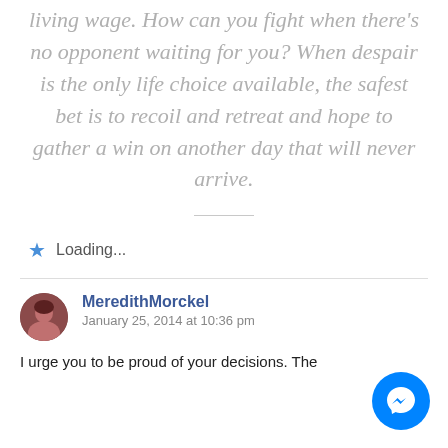living wage. How can you fight when there's no opponent waiting for you? When despair is the only life choice available, the safest bet is to recoil and retreat and hope to gather a win on another day that will never arrive.
Loading...
MeredithMorckel
January 25, 2014 at 10:36 pm
I urge you to be proud of your decisions. The